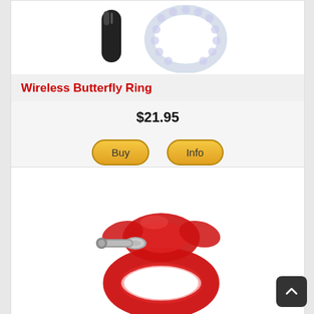[Figure (photo): Product image of Wireless Butterfly Ring showing a black cylindrical vibrator and a clear butterfly-shaped ring]
Wireless Butterfly Ring
$21.95
[Figure (photo): Product image of a red ring toy with silver metallic accent pieces]